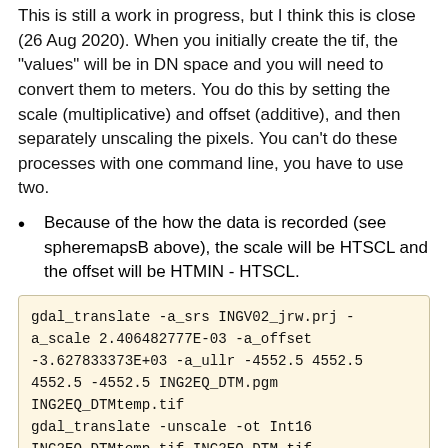This is still a work in progress, but I think this is close (26 Aug 2020). When you initially create the tif, the "values" will be in DN space and you will need to convert them to meters. You do this by setting the scale (multiplicative) and offset (additive), and then separately unscaling the pixels. You can't do these processes with one command line, you have to use two.
Because of the how the data is recorded (see spheremapsB above), the scale will be HTSCL and the offset will be HTMIN - HTSCL.
gdal_translate -a_srs INGV02_jrw.prj -a_scale 2.406482777E-03 -a_offset -3.627833373E+03 -a_ullr -4552.5 4552.5 4552.5 -4552.5 ING2EQ_DTM.pgm ING2EQ_DTMtemp.tif
gdal_translate -unscale -ot Int16 ING2EQ_DTMtemp.tif ING2EQ_DTM.tif
The above example uses Int16, which will only write integer values for height (i.e. 1 meter accuracy), for sub-meter values, use Float32. However some programs cannot